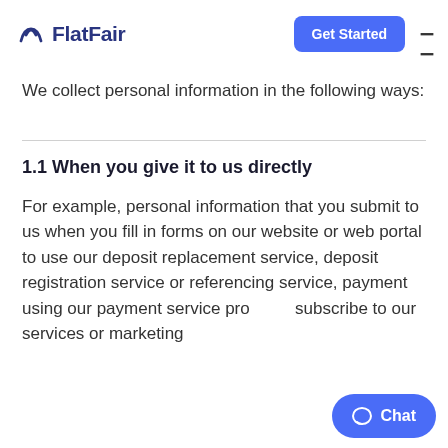FlatFair — Get Started
We collect personal information in the following ways:
1.1 When you give it to us directly
For example, personal information that you submit to us when you fill in forms on our website or web portal to use our deposit replacement service, deposit registration service or referencing service, payment using our payment service provider, subscribe to our services or marketing